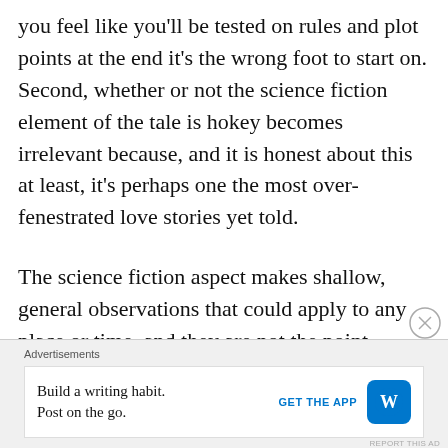you feel like you'll be tested on rules and plot points at the end it's the wrong foot to start on. Second, whether or not the science fiction element of the tale is hokey becomes irrelevant because, and it is honest about this at least, it's perhaps one the most over-fenestrated love stories yet told.
The science fiction aspect makes shallow, general observations that could apply to any place or time, and they are not the point, which makes the facade quasi-farcical and cumbersome. There are some clever things
Advertisements
Build a writing habit. Post on the go.